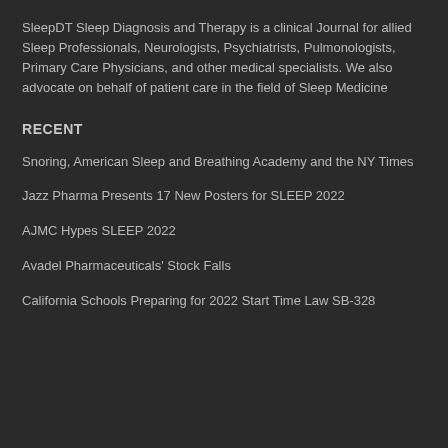SleepDT Sleep Diagnosis and Therapy is a clinical Journal for allied Sleep Professionals, Neurologists, Psychiatrists, Pulmonologists, Primary Care Physicians, and other medical specialists. We also advocate on behalf of patient care in the field of Sleep Medicine
RECENT
Snoring, American Sleep and Breathing Academy and the NY Times
Jazz Pharma Presents 17 New Posters for SLEEP 2022
AJMC Hypes SLEEP 2022
Avadel Pharmaceuticals' Stock Falls
California Schools Preparing for 2022 Start Time Law SB-328